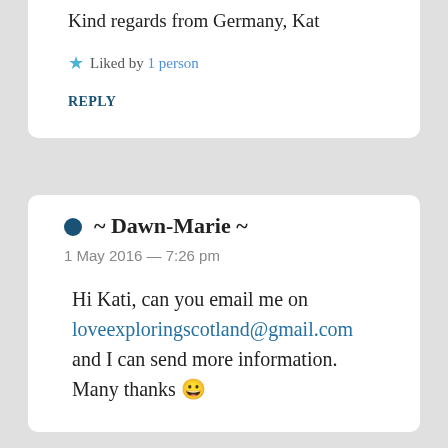Kind regards from Germany, Kat
★ Liked by 1 person
REPLY
~ Dawn-Marie ~ 1 May 2016 — 7:26 pm
Hi Kati, can you email me on loveexploringscotland@gmail.com and I can send more information. Many thanks 😀